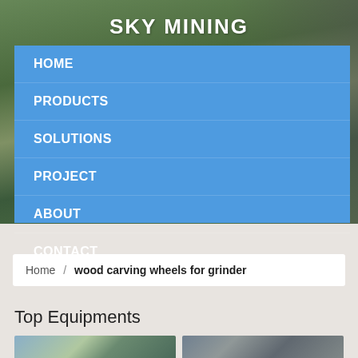[Figure (photo): Industrial mining facility background photo showing green treeline and steel structure scaffolding on the right side]
SKY MINING
HOME
PRODUCTS
SOLUTIONS
PROJECT
ABOUT
CONTACT
Home / wood carving wheels for grinder
Top Equipments
[Figure (photo): Two equipment/facility photos partially visible at the bottom of the page]